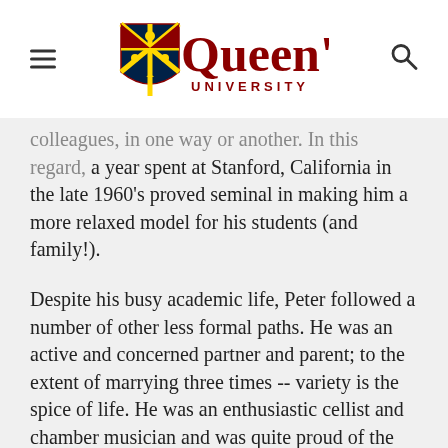Queen's University
colleagues, in one way or another. In this regard, a year spent at Stanford, California in the late 1960's proved seminal in making him a more relaxed model for his students (and family!).
Despite his busy academic life, Peter followed a number of other less formal paths. He was an active and concerned partner and parent; to the extent of marrying three times -- variety is the spice of life. He was an enthusiastic cellist and chamber musician and was quite proud of the fact that he was taught by Margaret